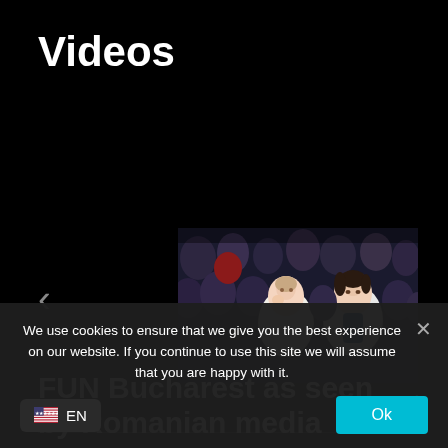Videos
[Figure (photo): Thumbnail image of a crowd of people at an event, with two women in the foreground, one in white]
FUN Bucharest as seen by Romanian media
We use cookies to ensure that we give you the best experience on our website. If you continue to use this site we will assume that you are happy with it.